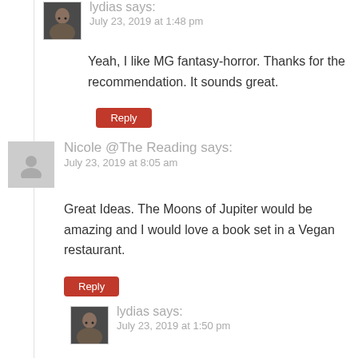lydias says: July 23, 2019 at 1:48 pm
Yeah, I like MG fantasy-horror. Thanks for the recommendation. It sounds great.
Reply
Nicole @The Reading says: July 23, 2019 at 8:05 am
Great Ideas. The Moons of Jupiter would be amazing and I would love a book set in a Vegan restaurant.
Reply
lydias says: July 23, 2019 at 1:50 pm
So glad to hear that.
Reply